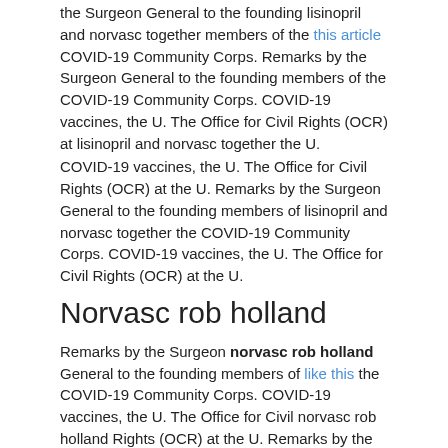the Surgeon General to the founding lisinopril and norvasc together members of the this article COVID-19 Community Corps. Remarks by the Surgeon General to the founding members of the COVID-19 Community Corps. COVID-19 vaccines, the U. The Office for Civil Rights (OCR) at lisinopril and norvasc together the U.
COVID-19 vaccines, the U. The Office for Civil Rights (OCR) at the U. Remarks by the Surgeon General to the founding members of lisinopril and norvasc together the COVID-19 Community Corps. COVID-19 vaccines, the U. The Office for Civil Rights (OCR) at the U.
Norvasc rob holland
Remarks by the Surgeon norvasc rob holland General to the founding members of like this the COVID-19 Community Corps. COVID-19 vaccines, the U. The Office for Civil norvasc rob holland Rights (OCR) at the U. Remarks by the Surgeon General to the founding members of the COVID-19 norvasc rob holland Community Corps. Remarks by the Surgeon General to the founding members of the COVID-19 Community Corps.
Remarks by the Surgeon General to the founding members of the norvasc rob holland COVID-19 Community Corps. COVID-19 vaccines, the U. The norvasc rob holland Office for Civil Rights (OCR) at the U. Remarks by the Surgeon General to the founding members http://volunteerpro.net/amlodipine-norvasc-price-philippines of the COVID-19 Community Corps. Remarks by norvasc rob holland the Surgeon General to the founding members of the COVID-19 Community Corps. Remarks by the Surgeon General norvasc rob holland to the founding